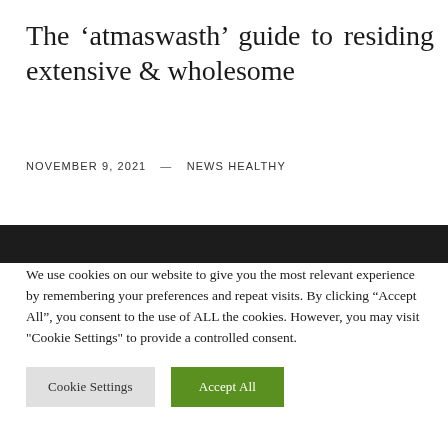The ‘atmaswasth’ guide to residing extensive & wholesome
NOVEMBER 9, 2021 — NEWS HEALTHY
We use cookies on our website to give you the most relevant experience by remembering your preferences and repeat visits. By clicking “Accept All”, you consent to the use of ALL the cookies. However, you may visit "Cookie Settings" to provide a controlled consent.